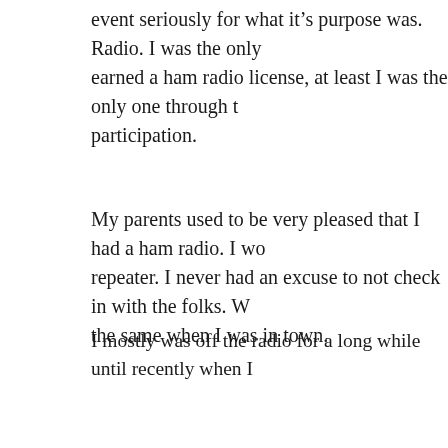event seriously for what it's purpose was. Radio. I was the only earned a ham radio license, at least I was the only one through t participation.
My parents used to be very pleased that I had a ham radio. I wo repeater. I never had an excuse to not check in with the folks. W the same when I was in town.
I mostly was off the radio for a long while until recently when I home. It took 25 years but I have some real radio equipment no I'm truly grateful that I am able to take the hobby seriously and have the equipment.
As for computing, we had our first computer when I was 5 or 6 spent hours and hours with the Tandy and upgrade after upgrade fiddle and learn. Until recently, I knew nothing about Linux. No much) and I can't get enough Raspberry Pi's.
Outside of ham radio and computing/networking, I am an engi